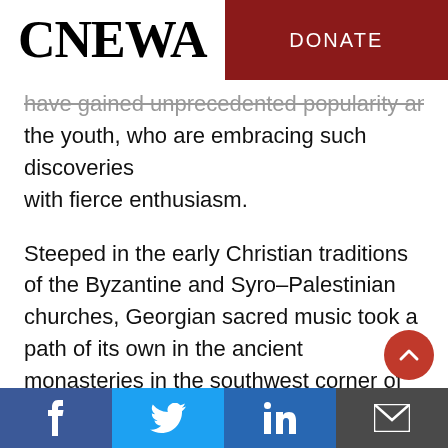CNEWA | DONATE
have gained unprecedented popularity among the youth, who are embracing such discoveries with fierce enthusiasm.
Steeped in the early Christian traditions of the Byzantine and Syro–Palestinian churches, Georgian sacred music took a path of its own in the ancient monasteries in the southwest corner of the Georgian kingdom, now a part of Turkey. By the 10th century, a distinct form of polyphonic chant was well established in the region's Georgian Orthodox monasteries — such as the
Facebook | Twitter | LinkedIn | Email